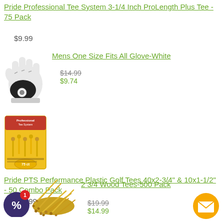Pride Professional Tee System 3-1/4 Inch ProLength Plus Tee - 75 Pack
$9.99
[Figure (photo): Golf glove - white with black palm detail]
Mens One Size Fits All Glove-White
$14.99 (original, strikethrough), $9.74 (sale)
[Figure (photo): Pride Professional Tee System package - yellow tees]
Pride PTS Performance Plastic Golf Tees 40x2-3/4" & 10x1-1/2" - 50 Combo Pack
$12.99
[Figure (photo): Pile of wood golf tees - golden/yellow color]
2 3/4 Wood Tees-500 Pack
$19.99 (original, strikethrough), $14.99 (sale)